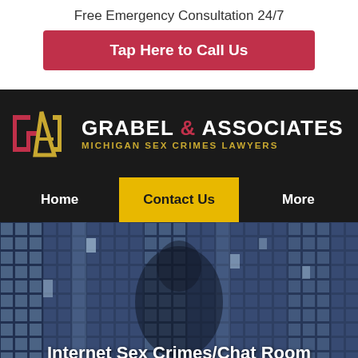Free Emergency Consultation 24/7
Tap Here to Call Us
[Figure (logo): Grabel & Associates Michigan Sex Crimes Lawyers logo with stylized G and A letters in red and gold on dark background]
Home | Contact Us | More
[Figure (photo): Dark digital/pixel background image with a shadowy figure suggesting internet crime context]
Internet Sex Crimes/Chat Room